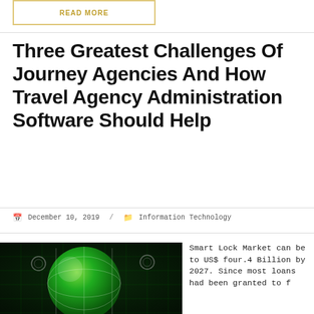READ MORE
Three Greatest Challenges Of Journey Agencies And How Travel Agency Administration Software Should Help
December 10, 2019 / Information Technology
[Figure (photo): Green glowing digital globe with grid lines and circuit board background, representing technology and global connectivity]
Smart Lock Market can be to US$ four.4 Billion by 2027. Since most loans had been granted to f